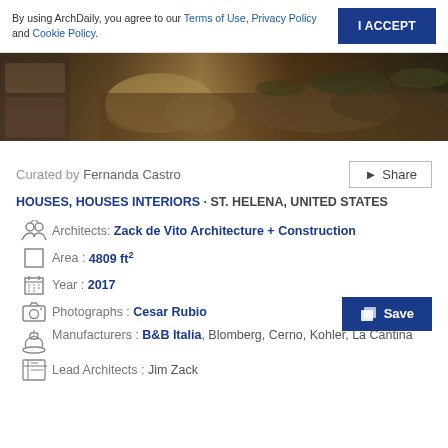By using ArchDaily, you agree to our Terms of Use, Privacy Policy and Cookie Policy.
I ACCEPT
[Figure (photo): Exterior view of a stone and wood building with rocky ground and grassy hillside in background]
Curated by Fernanda Castro
Share
HOUSES, HOUSES INTERIORS · ST. HELENA, UNITED STATES
Architects: Zack de Vito Architecture + Construction
Area: 4809 ft²
Year: 2017
Photographs: Cesar Rubio
Save
Manufacturers: B&B Italia, Blomberg, Cerno, Kohler, La Cantina
Lead Architects: Jim Zack